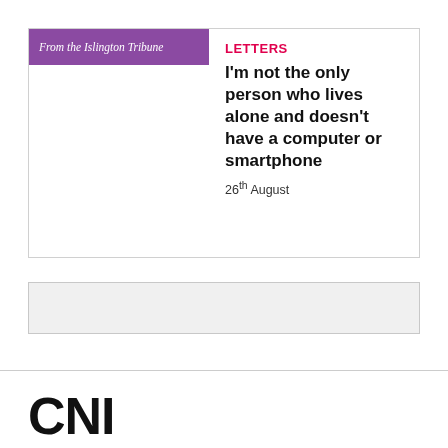From the Islington Tribune
LETTERS
I'm not the only person who lives alone and doesn't have a computer or smartphone
26th August
[Figure (other): Gray placeholder box]
CNI